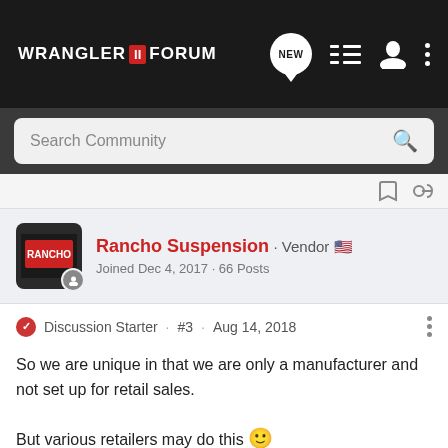WRANGLER FORUM
Search Community
Rancho Suspension · Vendor
Joined Dec 4, 2017 · 66 Posts
Discussion Starter · #3 · Aug 14, 2018
So we are unique in that we are only a manufacturer and not set up for retail sales.

But various retailers may do this 🙂